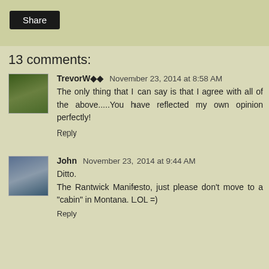[Figure (other): Share button bar area at top of page]
Share
13 comments:
TrevorW◆◆   November 23, 2014 at 8:58 AM
The only thing that I can say is that I agree with all of the above.....You have reflected my own opinion perfectly!
Reply
John   November 23, 2014 at 9:44 AM
Ditto.
The Rantwick Manifesto, just please don't move to a "cabin" in Montana. LOL =)
Reply